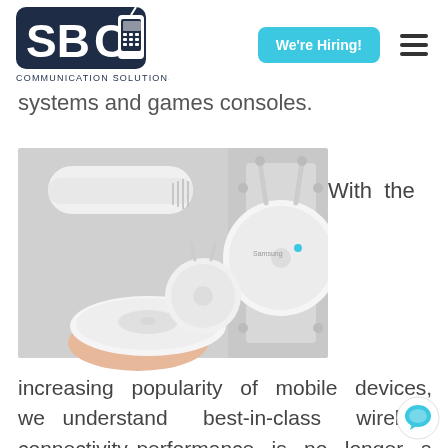[Figure (logo): SBC Communication Solutions logo with mobile phone icon in dark navy rounded rectangle]
We're Hiring!
systems and games consoles.
With the
[Figure (photo): Samsung wireless access point devices — a hand holding a round flat white access point, plus wall-mounted units with antennas displayed against grey panel background]
increasing popularity of mobile devices, we understand best-in-class wireless connectivity performance is no longer a nice-to-have, but an